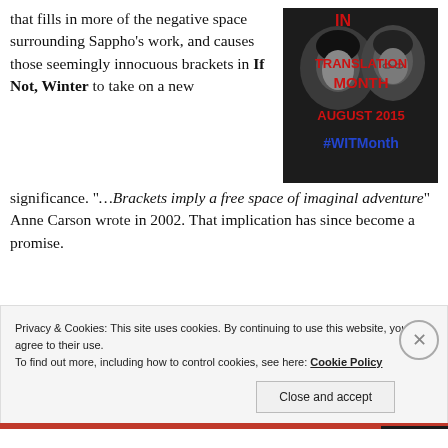that fills in more of the negative space surrounding Sappho's work, and causes those seemingly innocuous brackets in If Not, Winter to take on a new significance. "...Brackets imply a free space of imaginal adventure" Anne Carson wrote in 2002. That implication has since become a promise.
[Figure (illustration): Women in Translation Month promotional image, August 2015, #WITMonth, showing black and white photos of women with red and blue text overlay]
Privacy & Cookies: This site uses cookies. By continuing to use this website, you agree to their use.
To find out more, including how to control cookies, see here: Cookie Policy
Close and accept